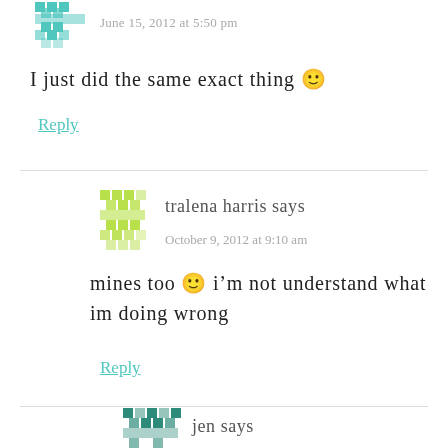[Figure (illustration): Teal/cyan decorative geometric avatar icon (top, partially visible)]
June 15, 2012 at 5:50 pm
I just did the same exact thing 🙂
Reply
[Figure (illustration): Green decorative geometric avatar icon for tralena harris]
tralena harris says
October 9, 2012 at 9:10 am
mines too 🙂 i'm not understand what im doing wrong
Reply
[Figure (illustration): Teal/dark teal decorative geometric avatar icon for jen (partially visible)]
jen says